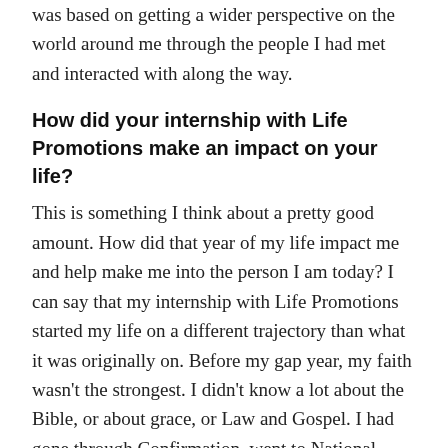was based on getting a wider perspective on the world around me through the people I had met and interacted with along the way.
How did your internship with Life Promotions make an impact on your life?
This is something I think about a pretty good amount. How did that year of my life impact me and help make me into the person I am today? I can say that my internship with Life Promotions started my life on a different trajectory than what it was originally on. Before my gap year, my faith wasn't the strongest. I didn't know a lot about the Bible, or about grace, or Law and Gospel. I had gone through Confirmation, went to National Youth Gatherings, and was even a part of the high school worship team, but I never really grew in my faith that much throughout those years in my life. It wasn't until my